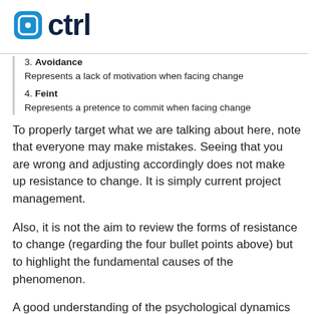o ctrl
3. Avoidance
Represents a lack of motivation when facing change
4. Feint
Represents a pretence to commit when facing change
To properly target what we are talking about here, note that everyone may make mistakes. Seeing that you are wrong and adjusting accordingly does not make up resistance to change. It is simply current project management.
Also, it is not the aim to review the forms of resistance to change (regarding the four bullet points above) but to highlight the fundamental causes of the phenomenon.
A good understanding of the psychological dynamics related to it will allow you to define a deployment